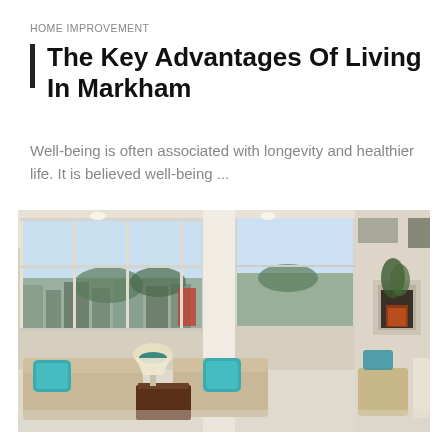HOME IMPROVEMENT
The Key Advantages Of Living In Markham
Well-being is often associated with longevity and healthier life. It is believed well-being ...
[Figure (photo): Bright modern living room with large windows, beige furniture with teal accent pillows, a lamp, coffee table, and fireplace visible in the background with city/suburban view outside the windows.]